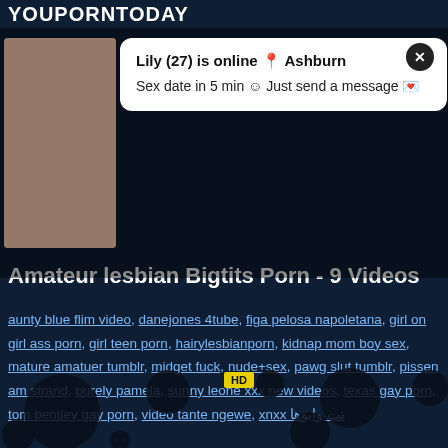YOUPORNTODAY
[Figure (photo): Popup overlay with thumbnail photo and notification message]
Lily (27) is online 📍 Ashburn
Sex date in 5 min 😊 Just send a message 💌
Amateur lesbian Bigtits Porn - 9 Videos
aunty blue flim video, danejones 4tube, figa pelosa napoletana, girl on girl ass porn, girl teen porn, hairylesbianporn, kidnap mom boy sex, mature amatuer tumblr, midget fuck, nude+sex, pawg slut tumblr, pissen am strand, purely pamela, sunny leone xxx new videos, texas gay porn, tom bentley gay porn, video tante ngewe, xnxx تت وابوها